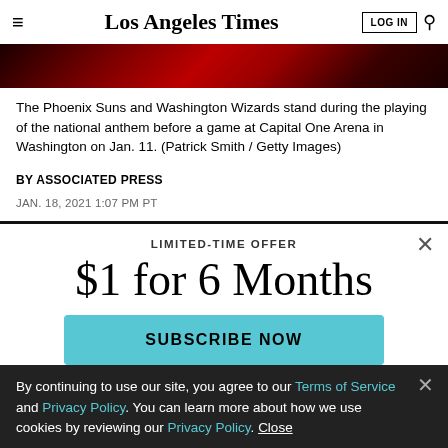Los Angeles Times
[Figure (photo): Dark red abstract hero image strip at top of article page]
The Phoenix Suns and Washington Wizards stand during the playing of the national anthem before a game at Capital One Arena in Washington on Jan. 11. (Patrick Smith / Getty Images)
BY ASSOCIATED PRESS
JAN. 18, 2021 1:07 PM PT
LIMITED-TIME OFFER
$1 for 6 Months
SUBSCRIBE NOW
By continuing to use our site, you agree to our Terms of Service and Privacy Policy. You can learn more about how we use cookies by reviewing our Privacy Policy. Close